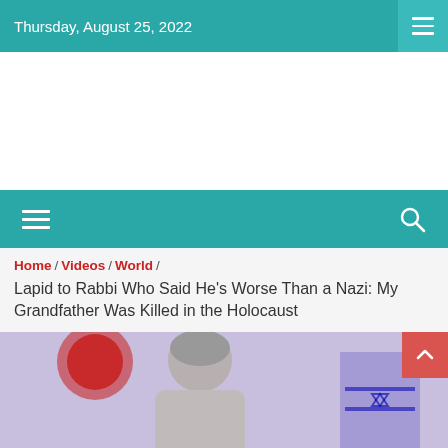Thursday, August 25, 2022
[Figure (other): Advertisement / blank white area]
[Figure (other): Navigation bar with hamburger menu and search icon]
Home / Videos / World /
Lapid to Rabbi Who Said He's Worse Than a Nazi: My Grandfather Was Killed in the Holocaust
[Figure (photo): Photo of a grey-haired man (Lapid) in front of a purple/blue background with a partial Israeli flag visible]